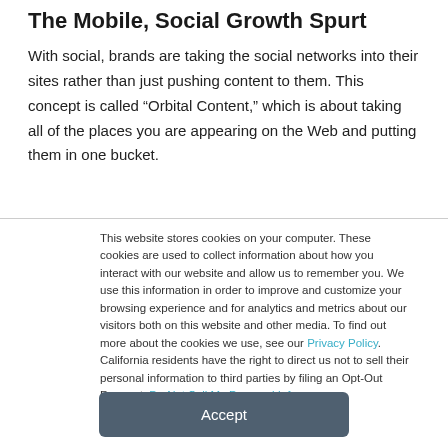The Mobile, Social Growth Spurt
With social, brands are taking the social networks into their sites rather than just pushing content to them. This concept is called “Orbital Content,” which is about taking all of the places you are appearing on the Web and putting them in one bucket.
This website stores cookies on your computer. These cookies are used to collect information about how you interact with our website and allow us to remember you. We use this information in order to improve and customize your browsing experience and for analytics and metrics about our visitors both on this website and other media. To find out more about the cookies we use, see our Privacy Policy. California residents have the right to direct us not to sell their personal information to third parties by filing an Opt-Out Request: Do Not Sell My Personal Info.